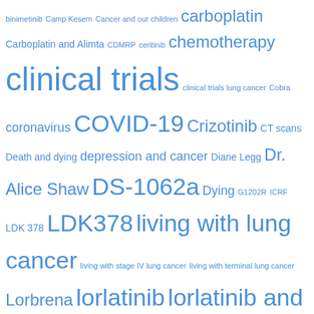[Figure (other): Tag cloud of medical/cancer related terms in various font sizes and shades of blue, including terms like lung cancer, stage IV lung cancer, clinical trials, COVID-19, lorlatinib, and many others.]